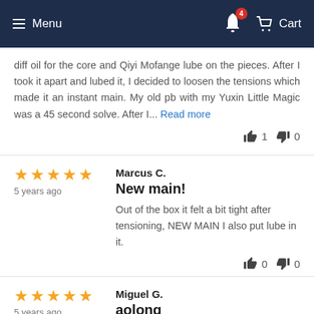Menu | [bell icon, badge: 4] | Cart
diff oil for the core and Qiyi Mofange lube on the pieces. After I took it apart and lubed it, I decided to loosen the tensions which made it an instant main. My old pb with my Yuxin Little Magic was a 45 second solve. After I... Read more
👍 1  👎 0
Marcus C.
5 years ago
New main!
Out of the box it felt a bit tight after tensioning, NEW MAIN I also put lube in it.
👍 0  👎 0
Miguel G.
5 years ago
aolong